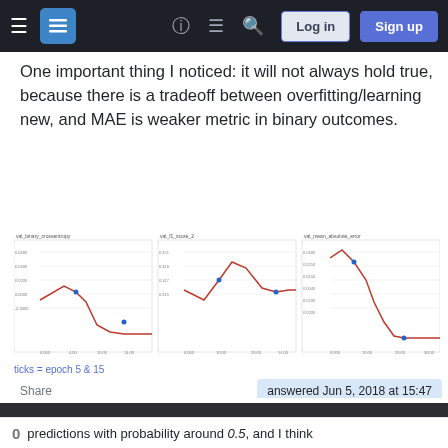Stack Exchange navigation bar with Log in and Sign up buttons
One important thing I noticed: it will not always hold true, because there is a tradeoff between overfitting/learning new, and MAE is weaker metric in binary outcomes.
[Figure (line-chart): Three line charts showing training metrics: val_binary_crossentropy, val_f1_score_2, and val_mean_absolute_error, with ticks at epoch 5 & 15]
ticks = epoch 5 & 15
Share
answered Jun 5, 2018 at 15:47
Your privacy
By clicking "Accept all cookies", you agree Stack Exchange can store cookies on your device and disclose information in accordance with our Cookie Policy.
Accept all cookies
Customize settings
predictions with probability around 0.5, and I think